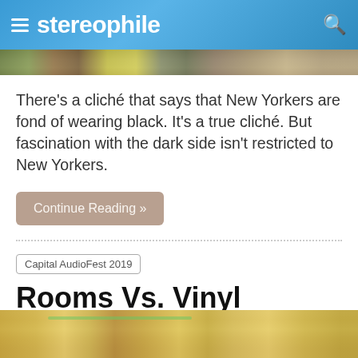stereophile
[Figure (photo): Partial view of an article hero image strip at top of page]
There's a cliché that says that New Yorkers are fond of wearing black. It's a true cliché. But fascination with the dark side isn't restricted to New Yorkers.
Continue Reading »
Capital AudioFest 2019
Rooms Vs. Vinyl
Ken Micallef  |  Nov 01, 2019  |
[Figure (photo): Bottom portion of hotel atrium interior with warm lighting and balconies]